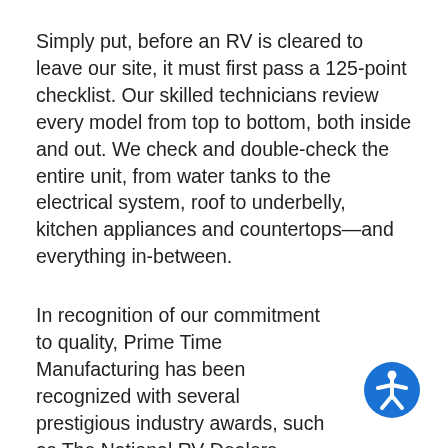Simply put, before an RV is cleared to leave our site, it must first pass a 125-point checklist. Our skilled technicians review every model from top to bottom, both inside and out. We check and double-check the entire unit, from water tanks to the electrical system, roof to underbelly, kitchen appliances and countertops—and everything in-between.
In recognition of our commitment to quality, Prime Time Manufacturing has been recognized with several prestigious industry awards, such as The National RV Dealers Association (RVDA) DSI Quality Circle Award and several “Best of Show” awards from RV publications. Simply stated, “No one does quality better!”
[Figure (illustration): Blue circular accessibility icon with a white human figure with arms and legs spread, representing accessibility.]